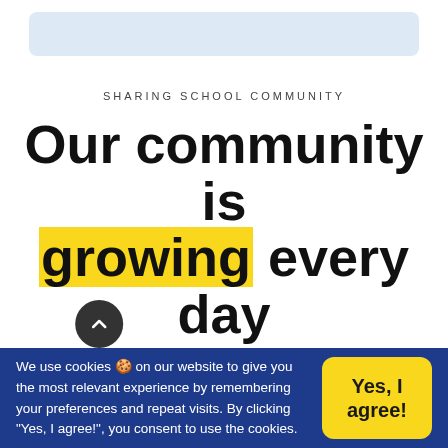[Figure (screenshot): Light blue rounded rectangle navigation/header bar at top of webpage]
SHARING SCHOOL COMMUNITY
Our community is growing every day
International Sharing School is a learning
We use cookies 🍪 on our website to give you the most relevant experience by remembering your preferences and repeat visits. By clicking "Yes, I agree!", you consent to use the cookies.
Yes, I agree!